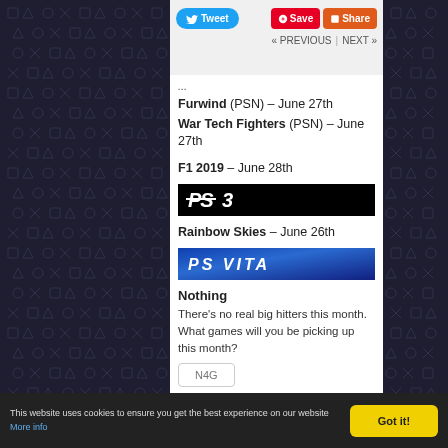Tweet | Save | Share | « PREVIOUS | NEXT »
Furwind (PSN) – June 27th
War Tech Fighters (PSN) – June 27th
F1 2019 – June 28th
[Figure (logo): PS3 logo on black background]
Rainbow Skies – June 26th
[Figure (logo): PS VITA logo on blue gradient background]
Nothing
There's no real big hitters this month. What games will you be picking up this month?
[Figure (logo): N4G button/logo]
This website uses cookies to ensure you get the best experience on our website More info | Got it!